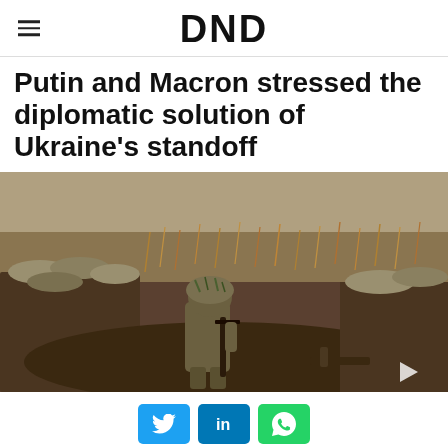DND
Putin and Macron stressed the diplomatic solution of Ukraine's standoff
[Figure (photo): A soldier in camouflage gear carrying a rifle walks through a trench with sandbag fortifications, dry grass and muddy terrain visible — a Ukrainian frontline battlefield scene.]
Social sharing buttons: Twitter, LinkedIn, WhatsApp